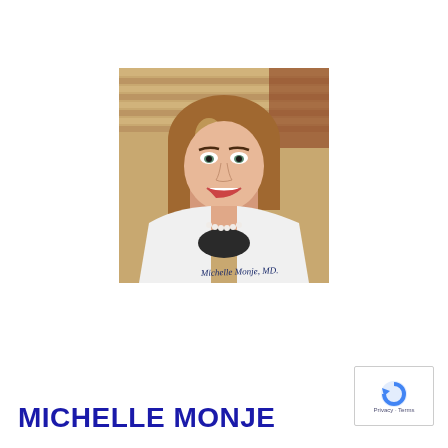[Figure (photo): Professional headshot of Michelle Monje, MD, wearing a white doctor's coat over a black top with a pearl necklace, smiling, with long brown hair, standing in front of wooden blinds background. A cursive signature 'Michelle Monje, MD.' is visible on the coat.]
MICHELLE MONJE
[Figure (logo): Google privacy/terms badge icon — circular arrow logo in blue with 'Privacy · Terms' text below]